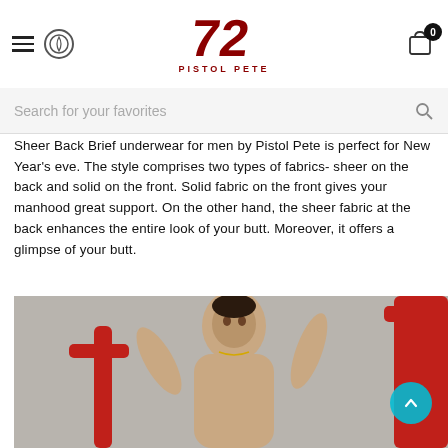72 Pistol Pete — navigation header with hamburger menu, logo, and cart icon
Search for your favorites
Sheer Back Brief underwear for men by Pistol Pete is perfect for New Year's eve. The style comprises two types of fabrics- sheer on the back and solid on the front. Solid fabric on the front gives your manhood great support. On the other hand, the sheer fabric at the back enhances the entire look of your butt. Moreover, it offers a glimpse of your butt.
[Figure (photo): A shirtless male model posing with arms raised near a red railing against a grey wall background]